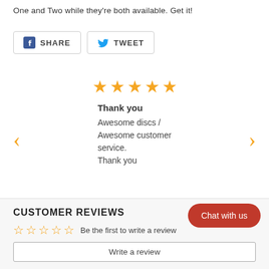One and Two while they're both available. Get it!
[Figure (other): Social sharing buttons: Facebook SHARE and Twitter TWEET]
[Figure (other): 5 orange filled star rating icons]
Thank you
Awesome discs / Awesome customer service. Thank you
C.B.
Shop review
CUSTOMER REVIEWS
[Figure (other): 5 empty orange star rating icons followed by text: Be the first to write a review]
Write a review